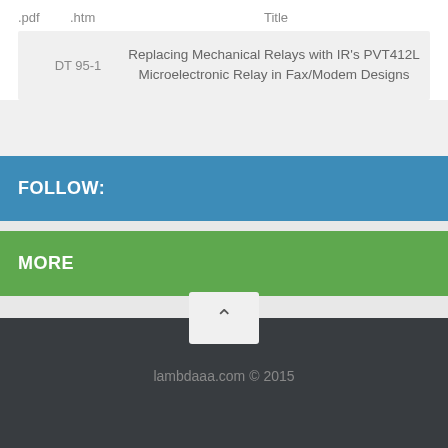| .pdf | .htm | Title |
| --- | --- | --- |
| DT 95-1 |  | Replacing Mechanical Relays with IR's PVT412L Microelectronic Relay in Fax/Modem Designs |
FOLLOW:
MORE
lambdaaa.com © 2015